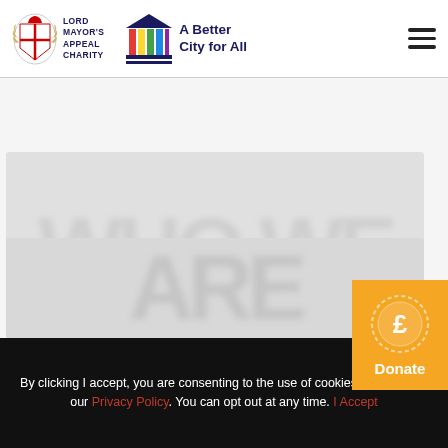[Figure (logo): Lord Mayor's Appeal Charity logo with crest and text, and A Better City for All logo with colored columns]
[Figure (photo): Blurred/watermarked background image area with large faded text]
[Figure (other): Orange Donate button with pound coin icon and Donate label]
By clicking I accept, you are consenting to the use of cookies as set out in our Privacy Policy. You can opt out at any time. I Accept